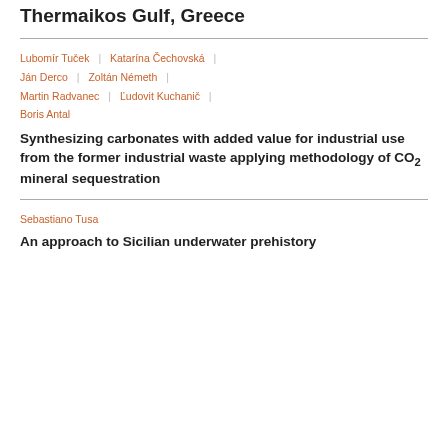Thermaikos Gulf, Greece
Lubomír Tuček | Katarína Čechovská | Ján Derco | Zoltán Németh | Martin Radvanec | Ľudovit Kuchanič | Boris Antal
Synthesizing carbonates with added value for industrial use from the former industrial waste applying methodology of CO2 mineral sequestration
Sebastiano Tusa
An approach to Sicilian underwater prehistory